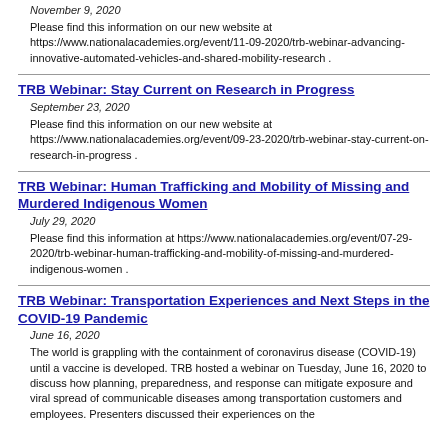November 9, 2020
Please find this information on our new website at https://www.nationalacademies.org/event/11-09-2020/trb-webinar-advancing-innovative-automated-vehicles-and-shared-mobility-research .
TRB Webinar: Stay Current on Research in Progress
September 23, 2020
Please find this information on our new website at https://www.nationalacademies.org/event/09-23-2020/trb-webinar-stay-current-on-research-in-progress .
TRB Webinar: Human Trafficking and Mobility of Missing and Murdered Indigenous Women
July 29, 2020
Please find this information at https://www.nationalacademies.org/event/07-29-2020/trb-webinar-human-trafficking-and-mobility-of-missing-and-murdered-indigenous-women .
TRB Webinar: Transportation Experiences and Next Steps in the COVID-19 Pandemic
June 16, 2020
The world is grappling with the containment of coronavirus disease (COVID-19) until a vaccine is developed. TRB hosted a webinar on Tuesday, June 16, 2020 to discuss how planning, preparedness, and response can mitigate exposure and viral spread of communicable diseases among transportation customers and employees. Presenters discussed their experiences on the